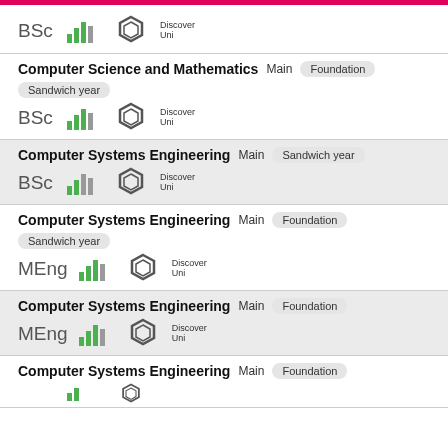BSc — Computer Science and Mathematics Main Foundation Sandwich year
Computer Science and Mathematics Main Foundation Sandwich year — BSc
Computer Systems Engineering Main Sandwich year — BSc
Computer Systems Engineering Main Foundation Sandwich year — MEng
Computer Systems Engineering Main Foundation — MEng
Computer Systems Engineering Main Foundation